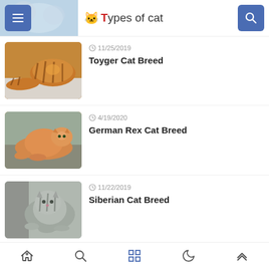Types of cat
[Figure (photo): Partially visible photo of cats/kittens at top left behind header]
11/25/2019 Toyger Cat Breed
4/19/2020 German Rex Cat Breed
11/22/2019 Siberian Cat Breed
11/08/2019 British Longhair Cat Breed
Home | Search | Grid | Night mode | Up